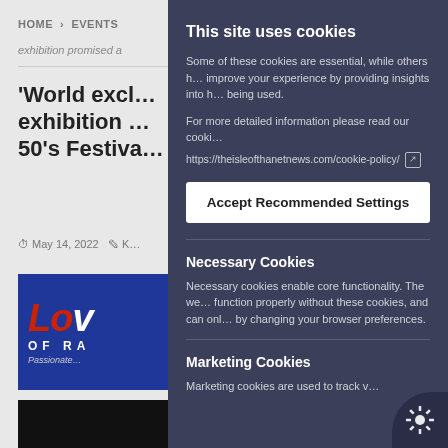HOME › EVENTS
exhibition promised a
'World excl… exhibition … 50's Festiva…
May 14, 2022  K…
[Figure (logo): Love of Ra logo on blue background with 'Passionate…' tagline]
[Figure (photo): Person in dark photo, bottom left of background page]
This site uses cookies
Some of these cookies are essential, while others h… improve your experience by providing insights into h… being used.
For more detailed information please read our cooki…
https://theisleofthanetnews.com/cookie-policy/
Accept Recommended Settings
Necessary Cookies
Necessary cookies enable core functionality. The we… function properly without these cookies, and can onl… by changing your browser preferences.
Marketing Cookies
Marketing cookies are used to track v…